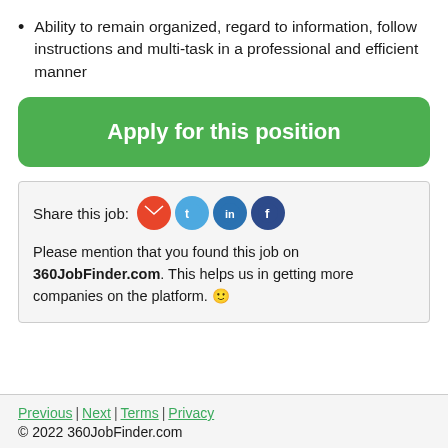Ability to remain organized, regard to information, follow instructions and multi-task in a professional and efficient manner
Apply for this position
Share this job: [email] [twitter] [linkedin] [facebook]
Please mention that you found this job on 360JobFinder.com. This helps us in getting more companies on the platform. 🙂
Previous | Next | Terms | Privacy
© 2022 360JobFinder.com